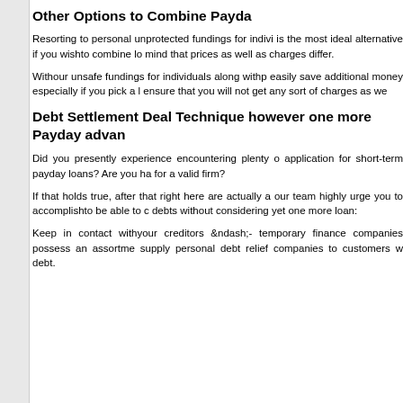Other Options to Combine Payda
Resorting to personal unprotected fundings for indivi is the most ideal alternative if you wishto combine lo mind that prices as well as charges differ.
Withour unsafe fundings for individuals along withp easily save additional money especially if you pick a l ensure that you will not get any sort of charges as we
Debt Settlement Deal Technique however one more Payday advan
Did you presently experience encountering plenty o application for short-term payday loans? Are you ha for a valid firm?
If that holds true, after that right here are actually a our team highly urge you to accomplishto be able to c debts without considering yet one more loan:
Keep in contact withyour creditors &amp;ndash;- temporary finance companies possess an assortme supply personal debt relief companies to customers w debt.